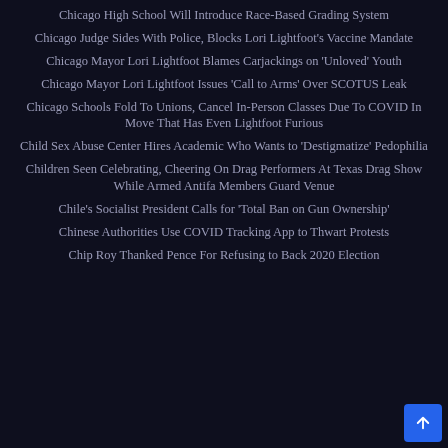Chicago High School Will Introduce Race-Based Grading System
Chicago Judge Sides With Police, Blocks Lori Lightfoot's Vaccine Mandate
Chicago Mayor Lori Lightfoot Blames Carjackings on 'Unloved' Youth
Chicago Mayor Lori Lightfoot Issues 'Call to Arms' Over SCOTUS Leak
Chicago Schools Fold To Unions, Cancel In-Person Classes Due To COVID In Move That Has Even Lightfoot Furious
Child Sex Abuse Center Hires Academic Who Wants to 'Destigmatize' Pedophilia
Children Seen Celebrating, Cheering On Drag Performers At Texas Drag Show While Armed Antifa Members Guard Venue
Chile's Socialist President Calls for 'Total Ban on Gun Ownership'
Chinese Authorities Use COVID Tracking App to Thwart Protests
Chip Roy Thanked Pence For Refusing to Back 2020 Election